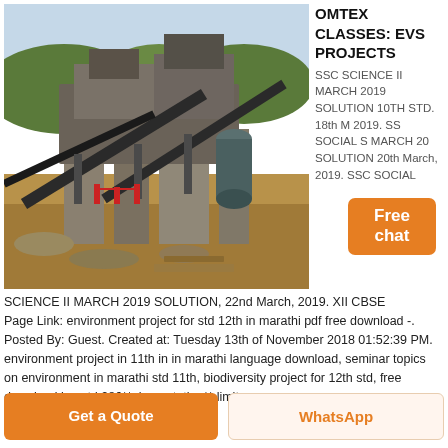[Figure (photo): Industrial mining plant / stone crushing facility with conveyor belts, large machinery structures, concrete pillars, and dirt terrain in the background with trees on hillside.]
OMTEX CLASSES: EVS PROJECTS
SSC SCIENCE II MARCH 2019 SOLUTION 10TH STD. 18th M 2019. SSC SOCIAL S MARCH 20 SOLUTION 20th March, 2019. SSC SOCIAL SCIENCE II MARCH 2019 SOLUTION, 22nd March, 2019. XII CBSE
[Figure (other): Free chat widget button with orange background]
Page Link: environment project for std 12th in marathi pdf free download -.
Posted By: Guest. Created at: Tuesday 13th of November 2018 01:52:39 PM.
environment project in 11th in in marathi language download, seminar topics on environment in marathi std 11th, biodiversity project for 12th std, free download iee std 286**plementation** limiter